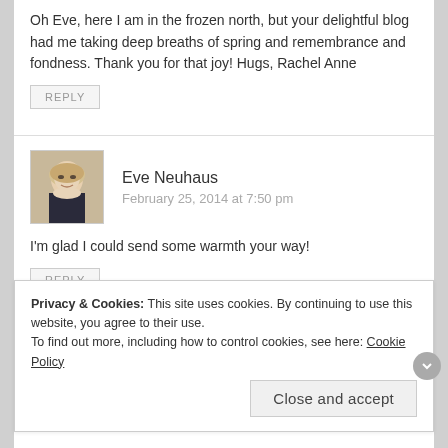Oh Eve, here I am in the frozen north, but your delightful blog had me taking deep breaths of spring and remembrance and fondness. Thank you for that joy! Hugs, Rachel Anne
REPLY
Eve Neuhaus
February 25, 2014 at 7:50 pm
I'm glad I could send some warmth your way!
REPLY
Privacy & Cookies: This site uses cookies. By continuing to use this website, you agree to their use.
To find out more, including how to control cookies, see here: Cookie Policy
Close and accept